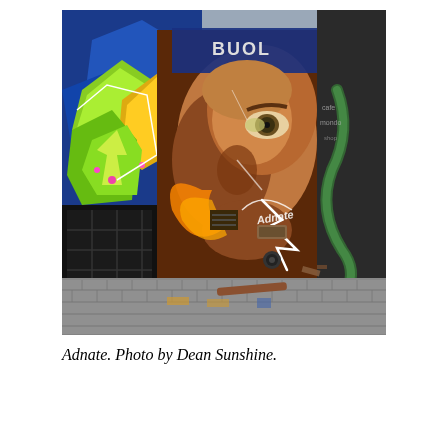[Figure (photo): Street art / graffiti mural in an alley. Large photorealistic portrait of a man's face with a blue cap, one eye visible, painted on a door or wall surface. Colorful graffiti lettering in green, yellow, and orange on the left side. Gray cobblestone pavement at the bottom. Photo taken outdoors.]
Adnate. Photo by Dean Sunshine.